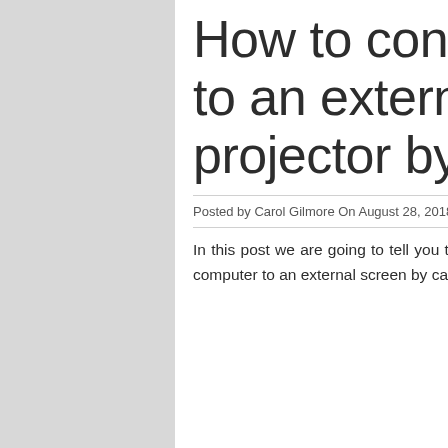How to connect your Mac to an external screen or projector by HDMI or VGA
Posted by Carol Gilmore On August 28, 2018 0 Comment
In this post we are going to tell you the different methods that we have to connect a Mac computer to an external screen by cable,